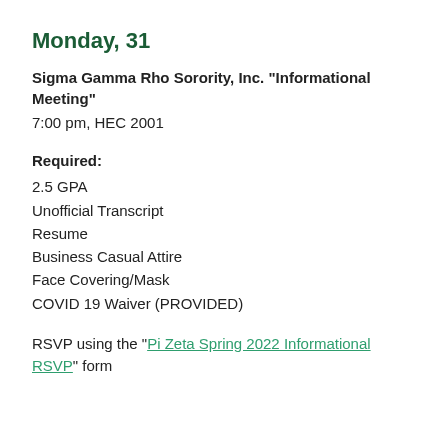Monday, 31
Sigma Gamma Rho Sorority, Inc. "Informational Meeting"
7:00 pm, HEC 2001
Required:
2.5 GPA
Unofficial Transcript
Resume
Business Casual Attire
Face Covering/Mask
COVID 19 Waiver (PROVIDED)
RSVP using the "Pi Zeta Spring 2022 Informational RSVP" form